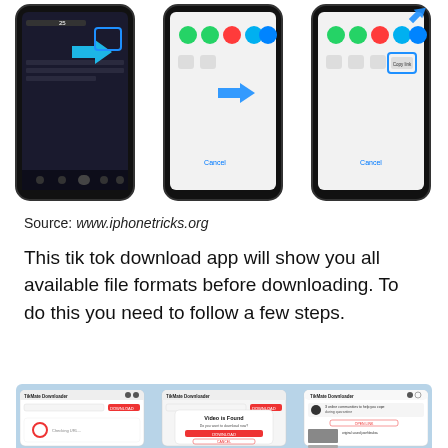[Figure (screenshot): Three smartphone screenshots showing TikTok share/copy link steps with blue arrows and highlighted boxes indicating the steps to copy a TikTok link.]
Source: www.iphonetricks.org
This tik tok download app will show you all available file formats before downloading. To do this you need to follow a few steps.
[Figure (screenshot): Three screenshots of TikMate Downloader app showing the download process: loading screen, 'Video is Found' dialog with DOWNLOAD and CANCEL buttons, and the TikMate community/home screen.]